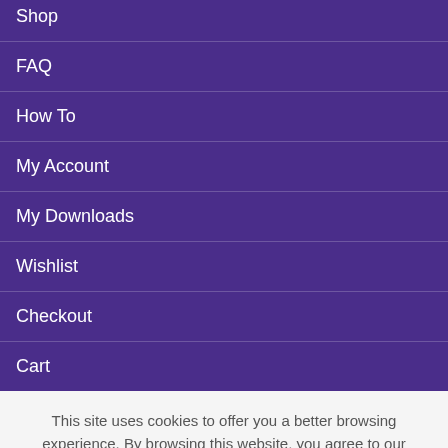Shop
FAQ
How To
My Account
My Downloads
Wishlist
Checkout
Cart
This site uses cookies to offer you a better browsing experience. By browsing this website, you agree to our use of cookies.
Let's Chat! How can we help? 💌